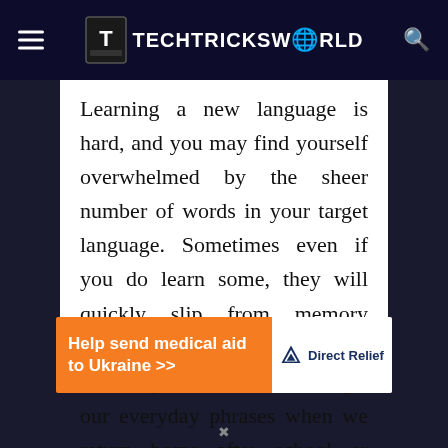TECHTRICKSWORLD
Learning a new language is hard, and you may find yourself overwhelmed by the sheer number of words in your target language. Sometimes even if you do learn some, they will quickly slip from memory because there’s no context for them – just like how we forget our everyday phrases when we return home after school or work.
[Figure (infographic): DirectRelief advertisement banner: orange background with text 'Help send medical aid to Ukraine >>' and DirectRelief logo on the right side]